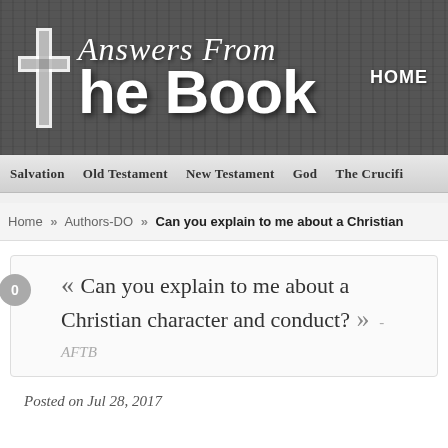[Figure (logo): Answers From The Book website logo with cross icon on dark wood-grain background, plus HOME navigation link]
Salvation   Old Testament   New Testament   God   The Crucifi...
Home » Authors-DO » Can you explain to me about a Christian...
« Can you explain to me about a Christian character and conduct? » - AFTB
Posted on Jul 28, 2017